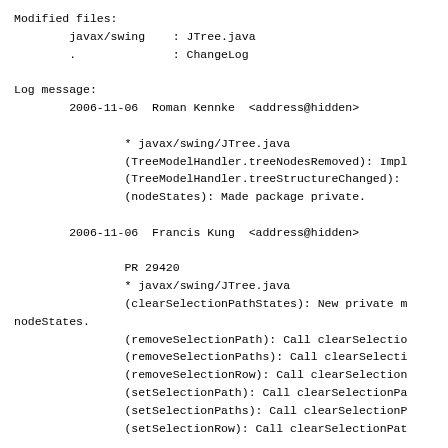Modified files:
        javax/swing    : JTree.java
        .              : ChangeLog

Log message:
        2006-11-06  Roman Kennke  <address@hidden>

                * javax/swing/JTree.java
                (TreeModelHandler.treeNodesRemoved): Impl
                (TreeModelHandler.treeStructureChanged):
                (nodeStates): Made package private.

        2006-11-06  Francis Kung  <address@hidden>

                PR 29420
                * javax/swing/JTree.java
                (clearSelectionPathStates): New private m
nodeStates.
                (removeSelectionPath): Call clearSelectio
                (removeSelectionPaths): Call clearSelecti
                (removeSelectionRow): Call clearSelection
                (setSelectionPath): Call clearSelectionPa
                (setSelectionPaths): Call clearSelectionP
                (setSelectionRow): Call clearSelectionPat

CVSWeb URLs:
http://cvs.savannah.gnu.org/viewcvs/classpath/javax/swing
http://cvs.savannah.gnu.org/viewcvs/classpath/ChangeLog?c